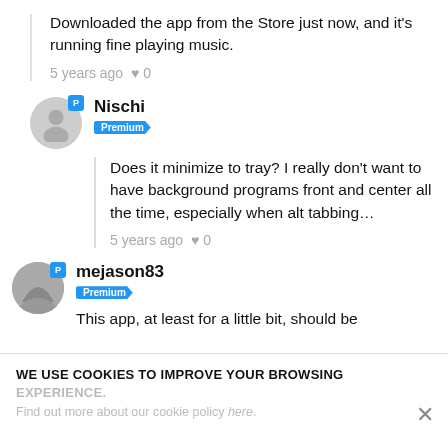Downloaded the app from the Store just now, and it's running fine playing music.
5 years ago  ♥ 0
Nischi
Premium
Does it minimize to tray? I really don't want to have background programs front and center all the time, especially when alt tabbing…
5 years ago  ♥ 0
mejason83
Premium
This app, at least for a little bit, should be
WE USE COOKIES TO IMPROVE YOUR BROWSING EXPERIENCE.
Find out more about our cookie policy here.